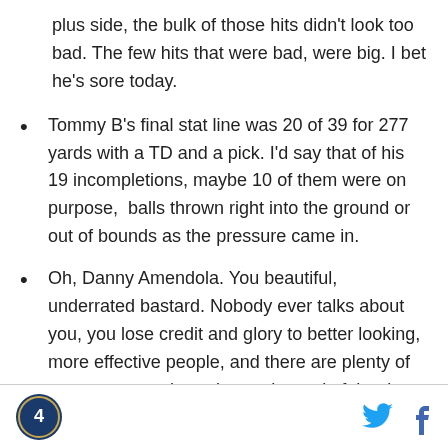plus side, the bulk of those hits didn't look too bad. The few hits that were bad, were big. I bet he's sore today.
Tommy B's final stat line was 20 of 39 for 277 yards with a TD and a pick. I'd say that of his 19 incompletions, maybe 10 of them were on purpose,  balls thrown right into the ground or out of bounds as the pressure came in.
Oh, Danny Amendola. You beautiful, underrated bastard. Nobody ever talks about you, you lose credit and glory to better looking, more effective people, and there are plenty of naysayers out there, but at the end of the day you always deliver
[logo] [twitter] [facebook]